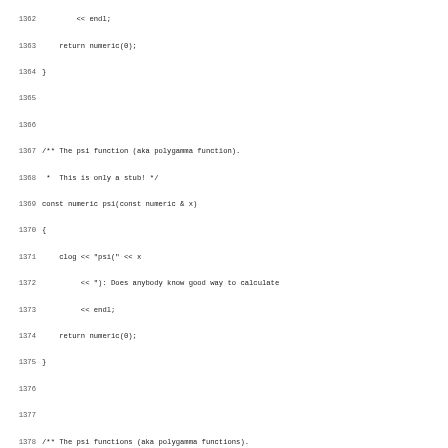Source code listing lines 1362-1394, C++ code for numeric math functions including psi (polygamma) and factorial stub implementations.